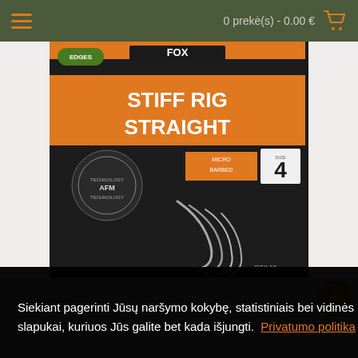0 prekė(s) - 0.00 €
[Figure (photo): Fox Edges Stiff Rig Straight Micro Barbed Size 4 fishing hooks product packaging, showing dark card with hooks visible, qty 10]
Uždaryti
Siekiant pagerinti Jūsų naršymo kokybę, statistiniais bei vidinės rinkodaros tikslais šioje svetainėje yra naudojami slapukai, kuriuos Jūs galite bet kada išjungti. Privatumo politika
oliukai
Nuostatos
SUTINKU